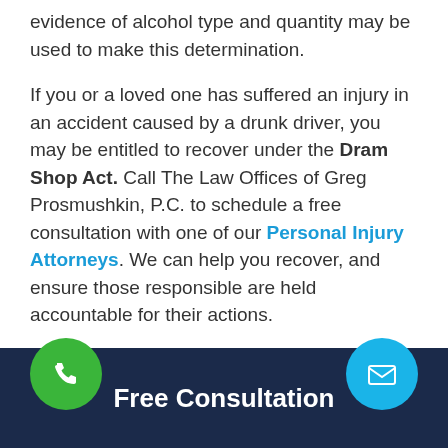evidence of alcohol type and quantity may be used to make this determination.
If you or a loved one has suffered an injury in an accident caused by a drunk driver, you may be entitled to recover under the Dram Shop Act. Call The Law Offices of Greg Prosmushkin, P.C. to schedule a free consultation with one of our Personal Injury Attorneys. We can help you recover, and ensure those responsible are held accountable for their actions.
This content was written on behalf of Greg Prosmushkin.
Free Consultation